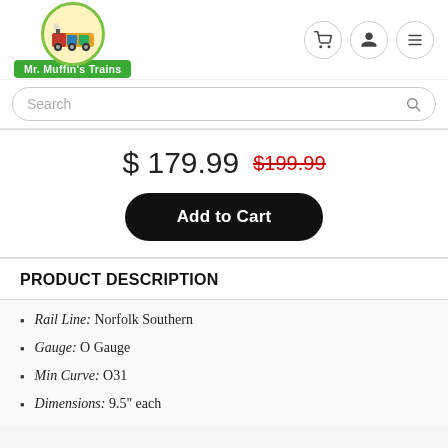[Figure (logo): Mr. Muffin's Trains logo — circular emblem with a cartoon train above a green rectangular badge reading 'Mr. Muffin's Trains']
$ 179.99  $199.99
Add to Cart
PRODUCT DESCRIPTION
Rail Line: Norfolk Southern
Gauge: O Gauge
Min Curve: O31
Dimensions: 9.5" each